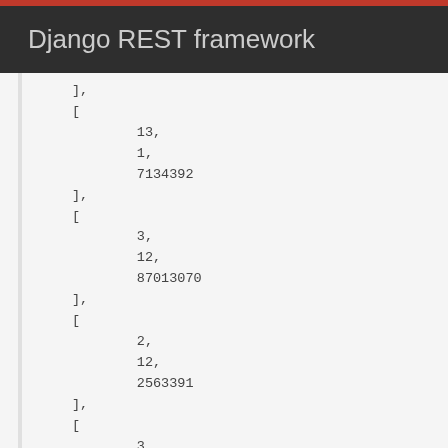Django REST framework
],
[
    13,
    1,
    7134392
],
[
    3,
    12,
    87013070
],
[
    2,
    12,
    2563391
],
[
    3,
    11,
    80793800
],
[
    2,
    14,
    96914302
],